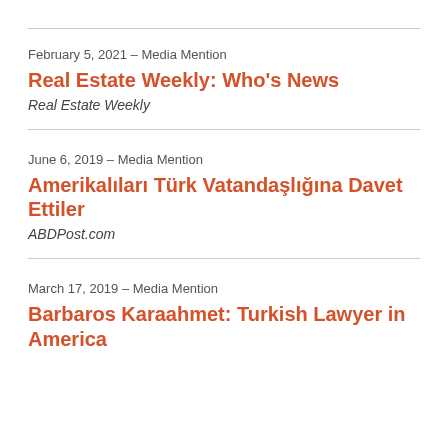February 5, 2021 – Media Mention
Real Estate Weekly: Who's News
Real Estate Weekly
June 6, 2019 – Media Mention
Amerikalıları Türk Vatandaşlığına Davet Ettiler
ABDPost.com
March 17, 2019 – Media Mention
Barbaros Karaahmet: Turkish Lawyer in America